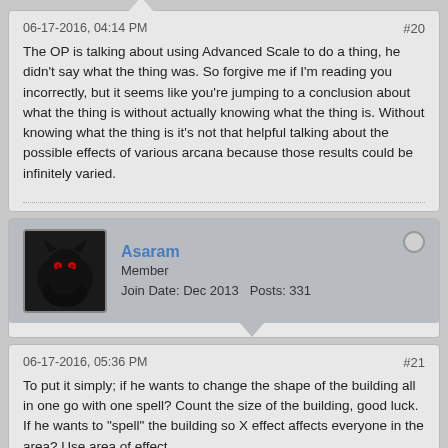06-17-2016, 04:14 PM
#20
The OP is talking about using Advanced Scale to do a thing, he didn't say what the thing was. So forgive me if I'm reading you incorrectly, but it seems like you're jumping to a conclusion about what the thing is without actually knowing what the thing is. Without knowing what the thing is it's not that helpful talking about the possible effects of various arcana because those results could be infinitely varied.
Asaram
Member
Join Date: Dec 2013   Posts: 331
06-17-2016, 05:36 PM
#21
To put it simply; if he wants to change the shape of the building all in one go with one spell? Count the size of the building, good luck. If he wants to "spell" the building so X effect affects everyone in the area? Use area of effect.

That's what I can think of anyways. What he is trying to do really is pretty relevant here.